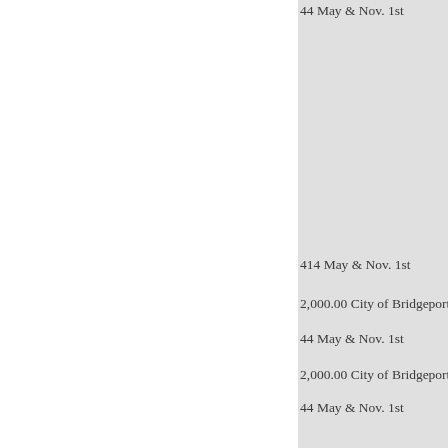44 May & Nov. 1st
414 May & Nov. 1st
2,000.00 City of Bridgeport, Con
44 May & Nov. 1st
2,000.00 City of Bridgeport, Con
44 May & Nov. 1st
1,000.00 City of Bridgeport, Con
444 May & Nov. 1st
4,000.00 City of Bridgeport, Con
May & Nov. 1st
4,000.00